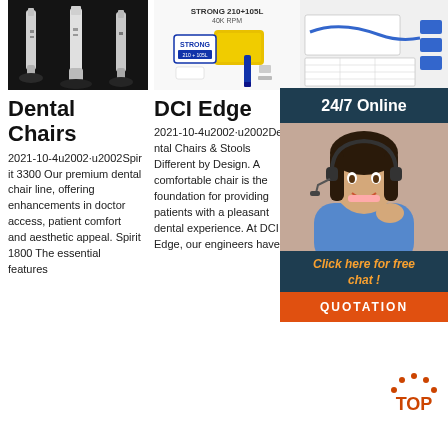[Figure (photo): Photo of dental handpieces/drills on dark background]
[Figure (photo): STRONG 210+105L 40K RPM dental micromotor kit with accessories on white background]
[Figure (photo): Dental equipment spec sheet / product diagram on light background]
Dental Chairs
DCI Edge
Den' Patio Cha
2021-10-4u2002·u2002Spirit 3300 Our premium dental chair line, offering enhancements in doctor access, patient comfort and aesthetic appeal. Spirit 1800 The essential features
2021-10-4u2002·u2002Dental Chairs & Stools Different by Design. A comfortable chair is the foundation for providing patients with a pleasant dental experience. At DCI Edge, our engineers have
Dental chairs necess purcha dental Choosing a chair that is comfortable for both the patient and dentist is important. Some features of dental chairs can
[Figure (photo): 24/7 Online customer service agent - woman with headset smiling]
24/7 Online
Click here for free chat !
QUOTATION
[Figure (logo): TOP badge logo in orange/red with dots]